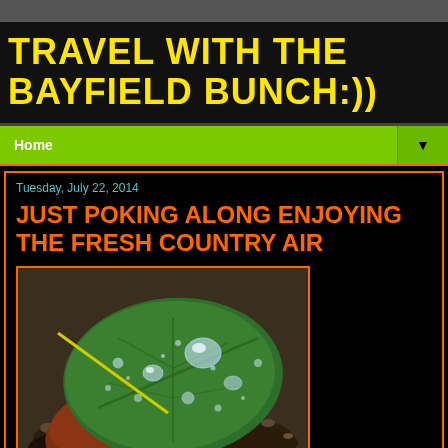TRAVEL WITH THE BAYFIELD BUNCH:))
Home
Tuesday, July 22, 2014
JUST POKING ALONG ENJOYING THE FRESH COUNTRY AIR
[Figure (photo): Close-up photo of green leaves with water droplets on them, resting on soil and gravel ground]